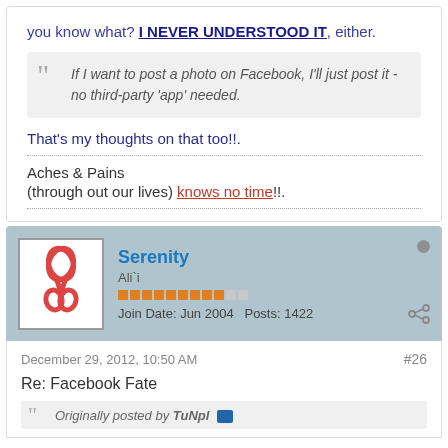you know what? I NEVER UNDERSTOOD IT, either.
If I want to post a photo on Facebook, I'll just post it - no third-party 'app' needed.
That's my thoughts on that too!!.
Aches & Pains (through out our lives) knows no time!!.
Serenity
Ali`i
Join Date: Jun 2004   Posts: 1422
December 29, 2012, 10:50 AM
#26
Re: Facebook Fate
Originally posted by TuNpl